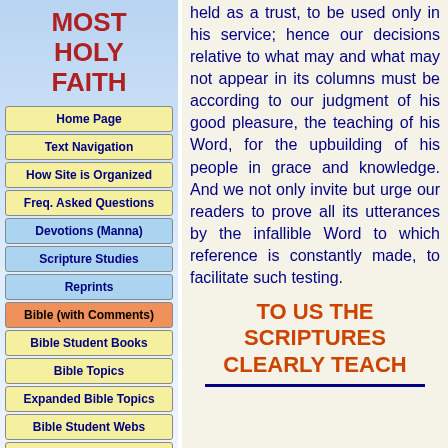MOST HOLY FAITH
Home Page
Text Navigation
How Site is Organized
Freq. Asked Questions
Devotions (Manna)
Scripture Studies
Reprints
Bible (with Comments)
Bible Student Books
Bible Topics
Expanded Bible Topics
Bible Student Webs
Miscellaneous
held as a trust, to be used only in his service; hence our decisions relative to what may and what may not appear in its columns must be according to our judgment of his good pleasure, the teaching of his Word, for the upbuilding of his people in grace and knowledge. And we not only invite but urge our readers to prove all its utterances by the infallible Word to which reference is constantly made, to facilitate such testing.
TO US THE SCRIPTURES CLEARLY TEACH